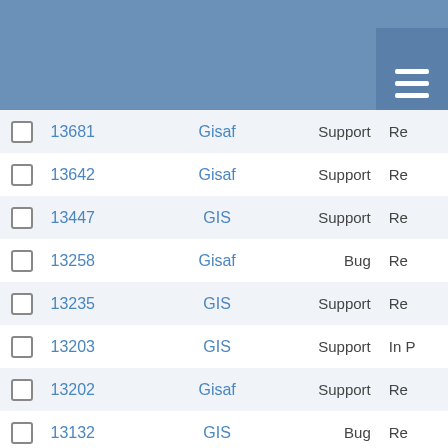|  | # | Project | Type | Status |
| --- | --- | --- | --- | --- |
|  | 13681 | Gisaf | Support | Re |
|  | 13642 | Gisaf | Support | Re |
|  | 13447 | GIS | Support | Re |
|  | 13258 | Gisaf | Bug | Re |
|  | 13235 | GIS | Support | Re |
|  | 13203 | GIS | Support | In P |
|  | 13202 | Gisaf | Support | Re |
|  | 13132 | GIS | Bug | Re |
|  | 13125 | Gisaf | Bug | Re |
|  | 13115 | GIS | Task | In P |
|  | 13090 | Gisaf | Support | Re |